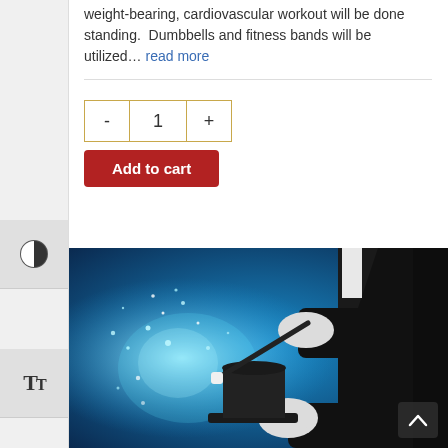weight-bearing, cardiovascular workout will be done standing.  Dumbbells and fitness bands will be utilized... read more
Add to cart (quantity selector with - 1 + buttons)
[Figure (photo): A magician in a black suit and white gloves holding a magic wand over a top hat with glowing blue sparks and light particles, on a blue background.]